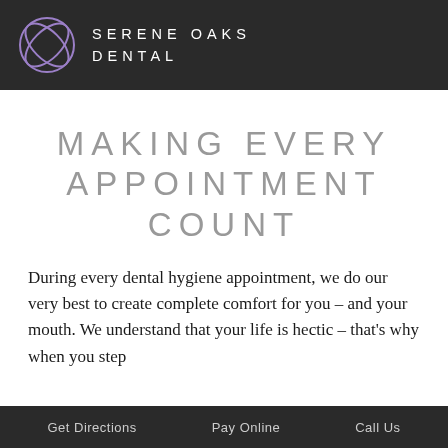SERENE OAKS DENTAL
MAKING EVERY APPOINTMENT COUNT
During every dental hygiene appointment, we do our very best to create complete comfort for you – and your mouth. We understand that your life is hectic – that's why when you step
Get Directions   Pay Online   Call Us